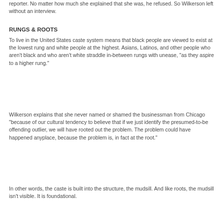reporter. No matter how much she explained that she was, he refused. So Wilkerson left without an interview.
RUNGS & ROOTS
To live in the United States caste system means that black people are viewed to exist at the lowest rung and white people at the highest. Asians, Latinos, and other people who aren't black and who aren't white straddle in-between rungs with unease, "as they aspire to a higher rung."
Wilkerson explains that she never named or shamed the businessman from Chicago "because of our cultural tendency to believe that if we just identify the presumed-to-be offending outlier, we will have rooted out the problem. The problem could have happened anyplace, because the problem is, in fact at the root."
In other words, the caste is built into the structure, the mudsill. And like roots, the mudsill isn't visible. It is foundational.